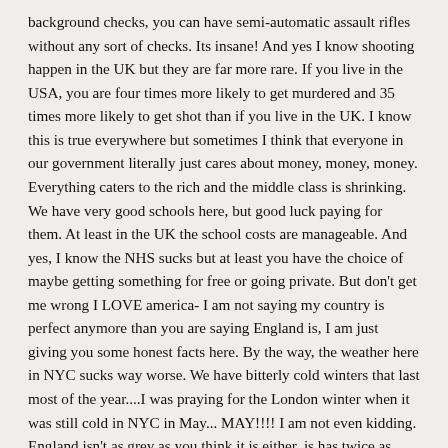background checks, you can have semi-automatic assault rifles without any sort of checks. Its insane! And yes I know shooting happen in the UK but they are far more rare. If you live in the USA, you are four times more likely to get murdered and 35 times more likely to get shot than if you live in the UK. I know this is true everywhere but sometimes I think that everyone in our government literally just cares about money, money, money. Everything caters to the rich and the middle class is shrinking. We have very good schools here, but good luck paying for them. At least in the UK the school costs are manageable. And yes, I know the NHS sucks but at least you have the choice of maybe getting something for free or going private. But don't get me wrong I LOVE america- I am not saying my country is perfect anymore than you are saying England is, I am just giving you some honest facts here. By the way, the weather here in NYC sucks way worse. We have bitterly cold winters that last most of the year....I was praying for the London winter when it was still cold in NYC in May... MAY!!!! I am not even kidding. England isn't as grey as you think it is either, is has twice as many sunny days as Seattle. My point is, the grass always looks greener from the other side of the fence. While it may seem which is the better US...